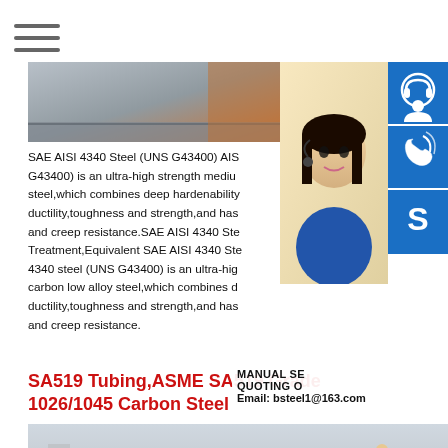[Figure (screenshot): Hamburger/menu icon with three horizontal lines in top-left corner]
[Figure (photo): Steel plate product photo, grey/metal tones with orange element]
[Figure (photo): Customer service woman with headset, smiling, with blue icon buttons for chat, phone, Skype on the right side]
SAE AISI 4340 Steel (UNS G43400) AIS G43400) is an ultra-high strength medium steel,which combines deep hardenability, ductility,toughness and strength,and has and creep resistance.SAE AISI 4340 Ste Treatment,Equivalent SAE AISI 4340 Ste 4340 steel (UNS G43400) is an ultra-hig carbon low alloy steel,which combines d ductility,toughness and strength,and has and creep resistance.
MANUAL SE QUOTING O Email: bsteel1@163.com
SA519 Tubing,ASME SA519 Grade 1026/1045 Carbon Steel
[Figure (photo): Construction site photo with dirt mounds, concrete structures, and a person in a suit]